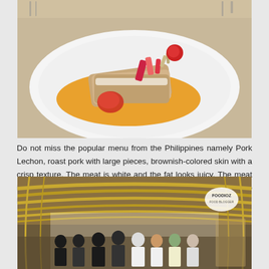[Figure (photo): A plate of Pork Lechon (roast pork) served on a white plate with orange sauce, garnished with tomatoes and vegetables]
Do not miss the popular menu from the Philippines namely Pork Lechon, roast pork with large pieces, brownish-colored skin with a crisp texture. The meat is white and the fat looks juicy. The meat is quite tender, it's just a crisp skin texture will be better if not too hard.
[Figure (photo): Group photo of people standing inside a restaurant with golden curved ceiling decorations, with a FOODIOZ watermark logo in the top right]